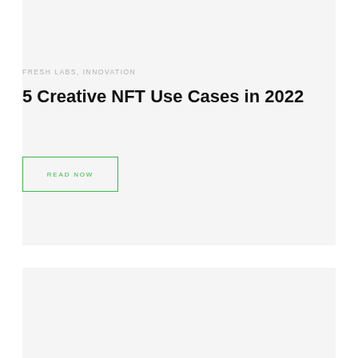FRESH LABS, INNOVATION
5 Creative NFT Use Cases in 2022
READ NOW